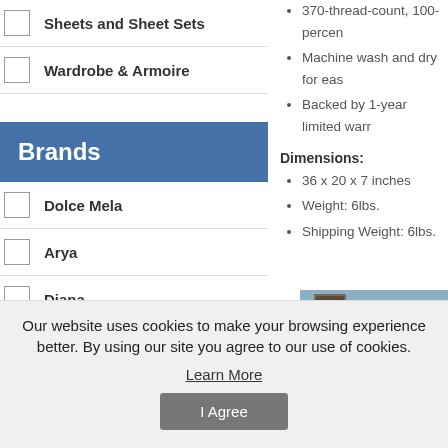Sheets and Sheet Sets
Wardrobe & Armoire
Brands
Dolce Mela
Arya
Diana
Le Vele
370-thread-count, 100-percen…
Machine wash and dry for eas…
Backed by 1-year limited warr…
Dimensions:
36 x 20 x 7 inches
Weight: 6lbs.
Shipping Weight: 6lbs.
[Figure (photo): Furniture/wardrobe product photo showing a dark wooden dresser against a blue wall]
Our website uses cookies to make your browsing experience better. By using our site you agree to our use of cookies.
Learn More
I Agree